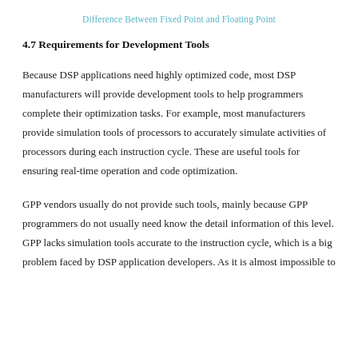Difference Between Fixed Point and Floating Point
4.7 Requirements for Development Tools
Because DSP applications need highly optimized code, most DSP manufacturers will provide development tools to help programmers complete their optimization tasks. For example, most manufacturers provide simulation tools of processors to accurately simulate activities of processors during each instruction cycle. These are useful tools for ensuring real-time operation and code optimization.
GPP vendors usually do not provide such tools, mainly because GPP programmers do not usually need know the detail information of this level. GPP lacks simulation tools accurate to the instruction cycle, which is a big problem faced by DSP application developers. As it is almost impossible to